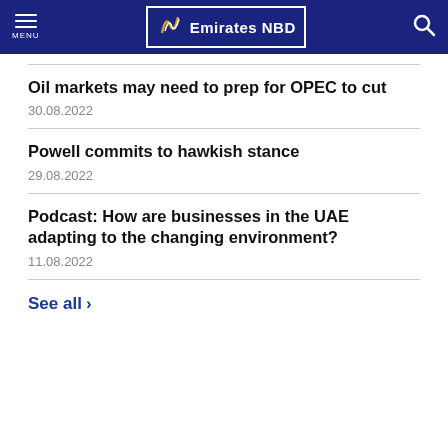Emirates NBD — Navigation bar with menu and search
Oil markets may need to prep for OPEC to cut
30.08.2022
Powell commits to hawkish stance
29.08.2022
Podcast: How are businesses in the UAE adapting to the changing environment?
11.08.2022
See all >